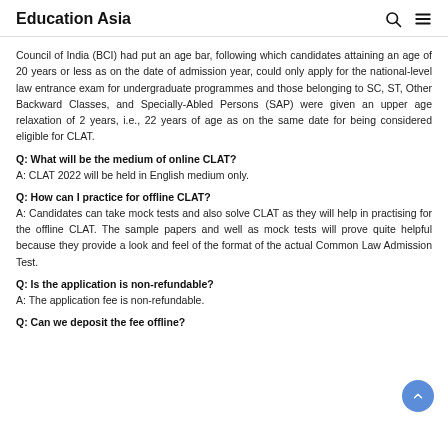Education Asia
Council of India (BCI) had put an age bar, following which candidates attaining an age of 20 years or less as on the date of admission year, could only apply for the national-level law entrance exam for undergraduate programmes and those belonging to SC, ST, Other Backward Classes, and Specially-Abled Persons (SAP) were given an upper age relaxation of 2 years, i.e., 22 years of age as on the same date for being considered eligible for CLAT.
Q: What will be the medium of online CLAT?
A: CLAT 2022 will be held in English medium only.
Q: How can I practice for offline CLAT?
A: Candidates can take mock tests and also solve CLAT as they will help in practising for the offline CLAT. The sample papers and well as mock tests will prove quite helpful because they provide a look and feel of the format of the actual Common Law Admission Test.
Q: Is the application is non-refundable?
A: The application fee is non-refundable.
Q: Can we deposit the fee offline?